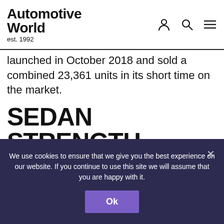Automotive World est. 1992
launched in October 2018 and sold a combined 23,361 units in its short time on the market.
SEDAN STRENGTH
In the sedan segment, Geely's flagship Bo Rui GE sedan reached 44,299 units sold, an increase of 4% year over year. The all New Emgrand continues to be the best selling Chinese sedan
We use cookies to ensure that we give you the best experience on our website. If you continue to use this site we will assume that you are happy with it.